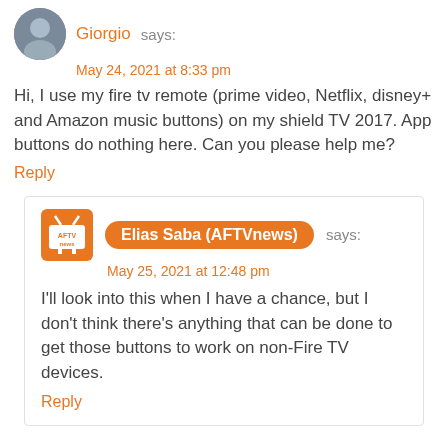Giorgio says:
May 24, 2021 at 8:33 pm
Hi, I use my fire tv remote (prime video, Netflix, disney+ and Amazon music buttons) on my shield TV 2017. App buttons do nothing here. Can you please help me?
Reply
Elias Saba (AFTVnews) says:
May 25, 2021 at 12:48 pm
I'll look into this when I have a chance, but I don't think there's anything that can be done to get those buttons to work on non-Fire TV devices.
Reply